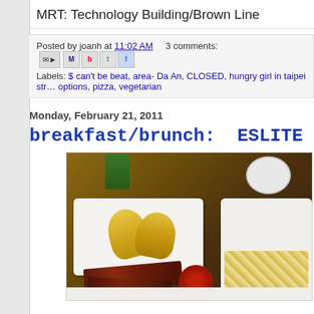MRT: Technology Building/Brown Line
Posted by joanh at 11:02 AM   3 comments:
Labels: $ can't be beat, area- Da An, CLOSED, hungry girl in taipei str... options, pizza, vegetarian
Monday, February 21, 2011
breakfast/brunch: ESLITE CAF
[Figure (photo): Photo of a breakfast/brunch plate with egg slices, bacon strips, a small sauce cup with red sauce, and scrambled eggs in a white tray, on a wooden table. A green drink bottle and a round plate visible in the background.]